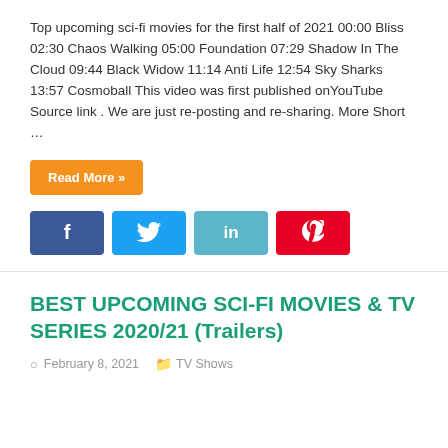Top upcoming sci-fi movies for the first half of 2021 00:00 Bliss 02:30 Chaos Walking 05:00 Foundation 07:29 Shadow In The Cloud 09:44 Black Widow 11:14 Anti Life 12:54 Sky Sharks 13:57 Cosmoball This video was first published onYouTube Source link . We are just re-posting and re-sharing. More Short …
Read More »
[Figure (other): Social sharing buttons: Facebook (f), Twitter (bird icon), LinkedIn (in), Pinterest (p)]
BEST UPCOMING SCI-FI MOVIES & TV SERIES 2020/21 (Trailers)
February 8, 2021   TV Shows